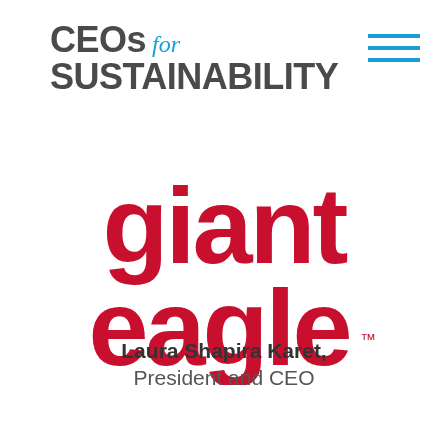CEOs for SUSTAINABILITY
[Figure (logo): Giant Eagle logo in bold red lettering with trademark symbol]
Laura Shapira Karet, President and CEO